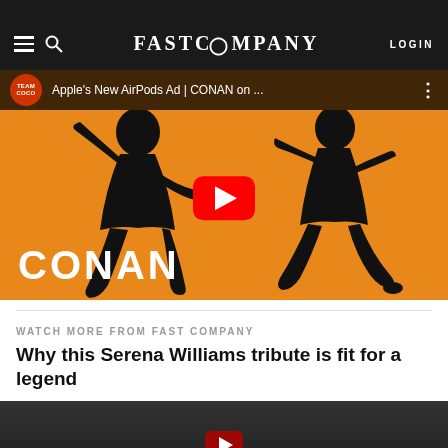FAST COMPANY
[Figure (screenshot): YouTube video embed showing Apple's New AirPods Ad | CONAN on TBS. Orange background with black silhouettes of two dancing figures. Red YouTube play button in center. TEAM COCO channel badge top left. Text 'CONAN' in large white letters bottom left.]
WATCH MORE FROM FAST COMPANY
Why this Serena Williams tribute is fit for a legend
[Figure (screenshot): Partially visible dark video thumbnail with play button, second video in the 'Watch More' section.]